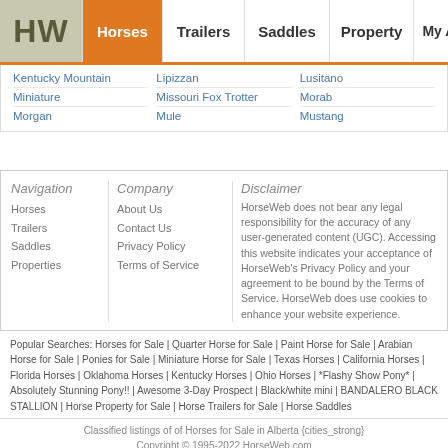HW | Horses | Trailers | Saddles | Property | My Account
Kentucky Mountain
Lipizzan
Lusitano
Miniature
Missouri Fox Trotter
Morab
Morgan
Mule
Mustang
Navigation
Horses
Trailers
Saddles
Properties
Company
About Us
Contact Us
Privacy Policy
Terms of Service
Disclaimer
HorseWeb does not bear any legal responsibility for the accuracy of any user-generated content (UGC). Accessing this website indicates your acceptance of HorseWeb's Privacy Policy and your agreement to be bound by the Terms of Service. HorseWeb does use cookies to enhance your website experience.
Popular Searches: Horses for Sale | Quarter Horse for Sale | Paint Horse for Sale | Arabian Horse for Sale | Ponies for Sale | Miniature Horse for Sale | Texas Horses | California Horses | Florida Horses | Oklahoma Horses | Kentucky Horses | Ohio Horses | *Flashy Show Pony* | Absolutely Stunning Pony!! | Awesome 3-Day Prospect | Black/white mini | BANDALERO BLACK STALLION | Horse Property for Sale | Horse Trailers for Sale | Horse Saddles
Classified listings of of Horses for Sale in Alberta {cities_strong}
Copyright © 1995-2022 HorseWeb.com